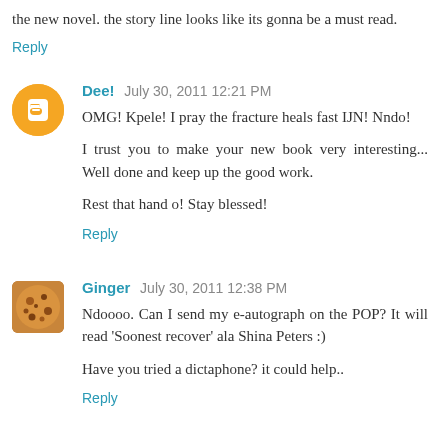the new novel. the story line looks like its gonna be a must read.
Reply
Dee!  July 30, 2011 12:21 PM
OMG! Kpele! I pray the fracture heals fast IJN! Nndo!

I trust you to make your new book very interesting... Well done and keep up the good work.

Rest that hand o! Stay blessed!
Reply
Ginger  July 30, 2011 12:38 PM
Ndoooo. Can I send my e-autograph on the POP? It will read 'Soonest recover' ala Shina Peters :)

Have you tried a dictaphone? it could help..
Reply